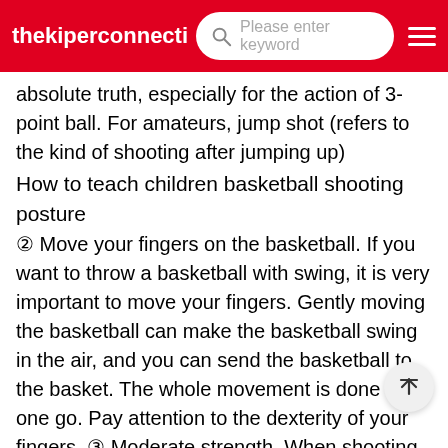thekiperconnecti   Please enter keyword
absolute truth, especially for the action of 3-point ball. For amateurs, jump shot (refers to the kind of shooting after jumping up)
How to teach children basketball shooting posture
② Move your fingers on the basketball. If you want to throw a basketball with swing, it is very important to move your fingers. Gently moving the basketball can make the basketball swing in the air, and you can send the basketball to the basket. The whole movement is done at one go. Pay attention to the dexterity of your fingers. ③ Moderate strength. When shooting, the strength is the key, one handSeek professional guidance!!! My son is seven years old. I want to start teaching him to play basketball and ask for professional guidance. What should I do
Dribbling (a seven-year-old child just takes a racket), arm strength (which directly affects shooting), speed, movement...